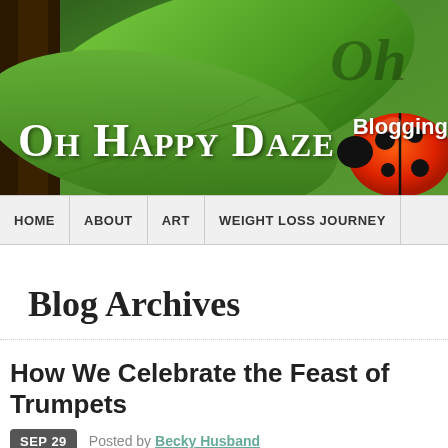[Figure (photo): Blog header banner with green leaves background, ladybug on the right, and the blog title 'Oh Happy Daze' with 'Blogging' text overlay. Cursive 'Oh' script in dark text on right side.]
HOME | ABOUT | ART | WEIGHT LOSS JOURNEY
Blog Archives
How We Celebrate the Feast of Trumpets
SEP 29  Posted by Becky Husband